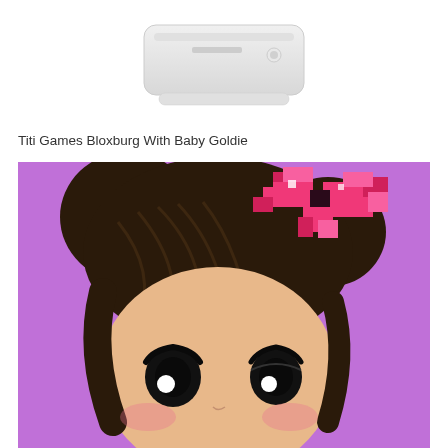[Figure (illustration): Partial view of a white electronic device (router or printer) with rounded rectangular shape on white background]
Titi Games Bloxburg With Baby Goldie
[Figure (illustration): Cartoon illustration of an anime-style chibi girl with dark brown hair in double bun hairstyle with a pixelated pink bow accessory, on a purple background. The character has large black eyes, rosy cheeks, and light skin tone.]